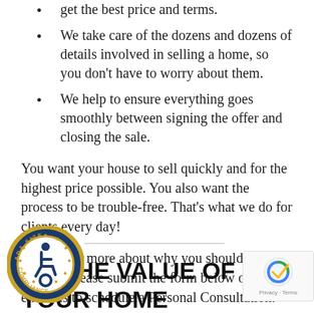get the best price and terms.
We take care of the dozens and dozens of details involved in selling a home, so you don't have to worry about them.
We help to ensure everything goes smoothly between signing the offer and closing the sale.
You want your house to sell quickly and for the highest price possible. You also want the process to be trouble-free. That's what we do for clients every day!
To find out more about why you should sell with us, please submit the form below or call or email us to schedule a Personal Consultation.
CK THE VALUE OF YOUR HOME